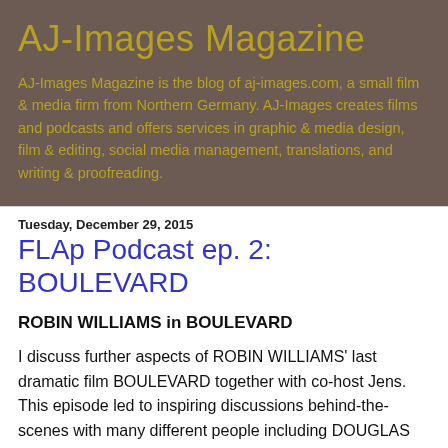AJ-Images Magazine
AJ-Images Magazine is the blog of aj-images.com, a small film & media firm from Northern Germany. AJ-Images creates films and podcasts and offers services in graphic & media design, film & editing, social media management, translations, and writing & proofreading.
Tuesday, December 29, 2015
FLAp Podcast ep. 2: BOULEVARD
ROBIN WILLIAMS in BOULEVARD
I discuss further aspects of ROBIN WILLIAMS' last dramatic film BOULEVARD together with co-host Jens. This episode led to inspiring discussions behind-the-scenes with many different people including DOUGLAS SOESBE, the writer of Boulevard. Stay tuned for another interesting episode.